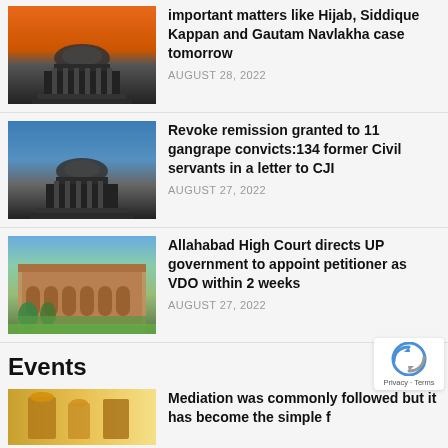[Figure (photo): Supreme Court of India building with orange sky]
important matters like Hijab, Siddique Kappan and Gautam Navlakha case tomorrow
AUGUST 28, 2022
[Figure (photo): Supreme Court of India building with blue sky]
Revoke remission granted to 11 gangrape convicts:134 former Civil servants in a letter to CJI
AUGUST 27, 2022
[Figure (photo): Allahabad High Court building exterior]
Allahabad High Court directs UP government to appoint petitioner as VDO within 2 weeks
AUGUST 27, 2022
Events
[Figure (photo): Events section image - golden/ornamental building]
Mediation was commonly followed but it has become the simple f